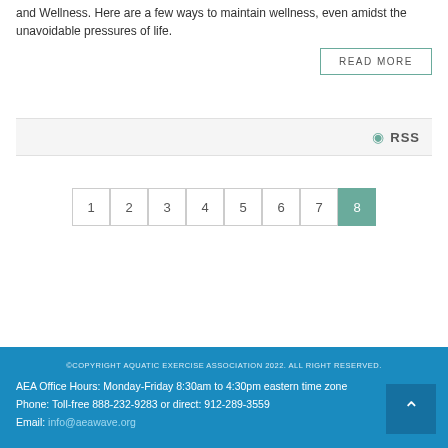and Wellness. Here are a few ways to maintain wellness, even amidst the unavoidable pressures of life.
READ MORE
RSS
1 2 3 4 5 6 7 8
©COPYRIGHT AQUATIC EXERCISE ASSOCIATION 2022. ALL RIGHT RESERVED.
AEA Office Hours: Monday-Friday 8:30am to 4:30pm eastern time zone
Phone: Toll-free 888-232-9283 or direct: 912-289-3559
Email: info@aeawave.org